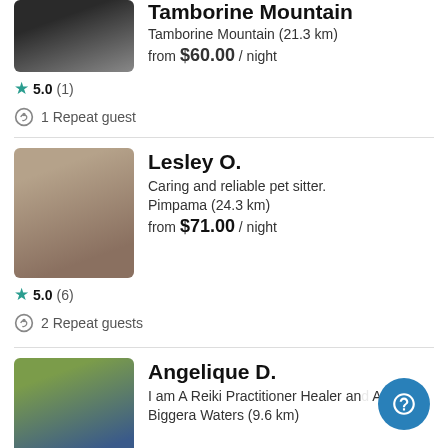[Figure (photo): Partial profile photo of a person, top portion cropped]
Tamborine Mountain
Tamborine Mountain (21.3 km)
from $60.00 / night
5.0 (1)
1 Repeat guest
Lesley O.
[Figure (photo): Profile photo of Lesley O., a woman with curly dark hair]
Caring and reliable pet sitter.
Pimpama (24.3 km)
from $71.00 / night
5.0 (6)
2 Repeat guests
Angelique D.
[Figure (photo): Profile photo of Angelique D., a woman with dark hair holding a small animal]
I am A Reiki Practitioner Healer and Animals
Biggera Waters (9.6 km)